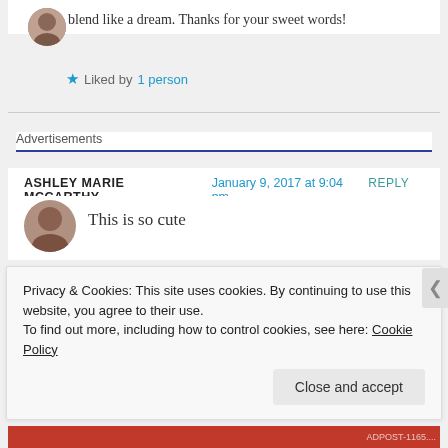blend like a dream. Thanks for your sweet words!
Liked by 1 person
Advertisements
ASHLEY MARIE MCCARTHY   January 9, 2017 at 9:04 pm   REPLY →
This is so cute
Privacy & Cookies: This site uses cookies. By continuing to use this website, you agree to their use.
To find out more, including how to control cookies, see here: Cookie Policy
Close and accept